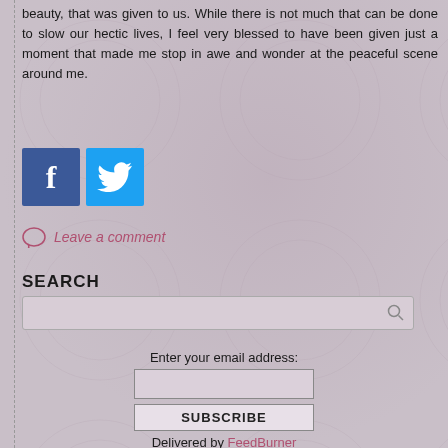beauty, that was given to us. While there is not much that can be done to slow our hectic lives, I feel very blessed to have been given just a moment that made me stop in awe and wonder at the peaceful scene around me.
[Figure (logo): Facebook and Twitter social share buttons]
Leave a comment
SEARCH
Enter your email address:
SUBSCRIBE
Delivered by FeedBurner
ARCHIVES
August 2022
July 2022
June 2022